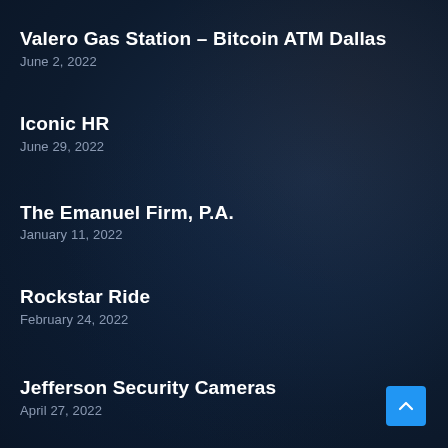Valero Gas Station – Bitcoin ATM Dallas
June 2, 2022
Iconic HR
June 29, 2022
The Emanuel Firm, P.A.
January 11, 2022
Rockstar Ride
February 24, 2022
Jefferson Security Cameras
April 27, 2022